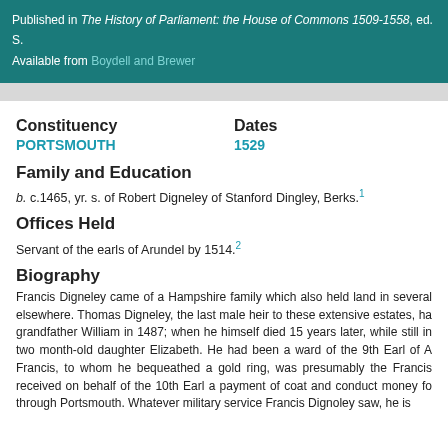Published in The History of Parliament: the House of Commons 1509-1558, ed. S. Available from Boydell and Brewer
Constituency | Dates
PORTSMOUTH | 1529
Family and Education
b. c.1465, yr. s. of Robert Digneley of Stanford Dingley, Berks.1
Offices Held
Servant of the earls of Arundel by 1514.2
Biography
Francis Digneley came of a Hampshire family which also held land in several elsewhere. Thomas Digneley, the last male heir to these extensive estates, ha grandfather William in 1487; when he himself died 15 years later, while still in two month-old daughter Elizabeth. He had been a ward of the 9th Earl of A Francis, to whom he bequeathed a gold ring, was presumably the Francis received on behalf of the 10th Earl a payment of coat and conduct money fo through Portsmouth. Whatever military service Francis Dignoley saw, he is